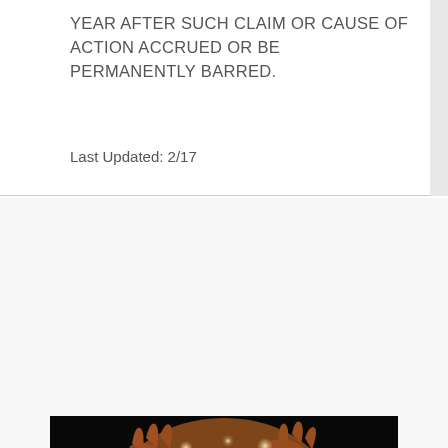YEAR AFTER SUCH CLAIM OR CAUSE OF ACTION ACCRUED OR BE PERMANENTLY BARRED.
Last Updated: 2/17
[Figure (photo): A person holding string lights up to their face in darkness, with glowing bokeh light effects, only the eyes visible through the hands.]
There Is No “Magic Bullet” in Hi-Fi